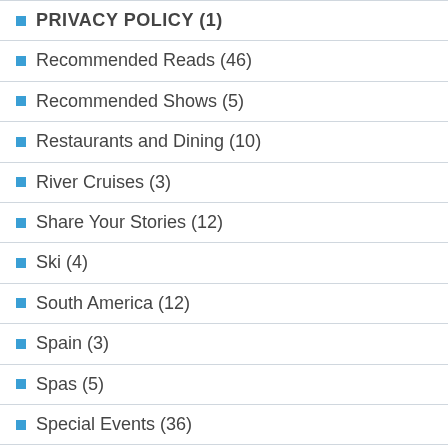PRIVACY POLICY (1)
Recommended Reads (46)
Recommended Shows (5)
Restaurants and Dining (10)
River Cruises (3)
Share Your Stories (12)
Ski (4)
South America (12)
Spain (3)
Spas (5)
Special Events (36)
TGIF Gossip (5)
Theatre (4)